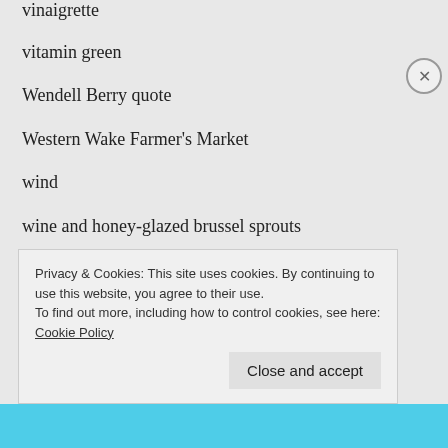vinaigrette
vitamin green
Wendell Berry quote
Western Wake Farmer's Market
wind
wine and honey-glazed brussel sprouts
winter
zephyr squash
Privacy & Cookies: This site uses cookies. By continuing to use this website, you agree to their use.
To find out more, including how to control cookies, see here: Cookie Policy